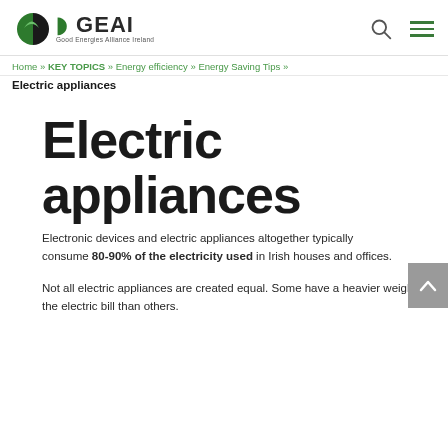GEAI — Good Energies Alliance Ireland
Home » KEY TOPICS » Energy efficiency » Energy Saving Tips »
Electric appliances
Electric appliances
Electronic devices and electric appliances altogether typically consume 80-90% of the electricity used in Irish houses and offices.
Not all electric appliances are created equal. Some have a heavier weight on the electric bill than others.